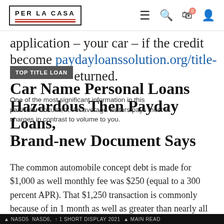PER LA CASA
application – your car – if the credit become paydayloanssolution.org/title- …returned.
Car Name Personal Loans Hazardous Then Payday Loans, Brand-new Document Says
One of the most significant information in this particular document. An average visitors pays most in charges in contrast to volume to you.
The common automobile concept debt is made for $1,000 as well monthly fee was $250 (equal to a 300 percent APR). That $1,250 transaction is commonly because of in 1 month as well as greater than nearly all individuals are capable of. Pew reports it's about 50